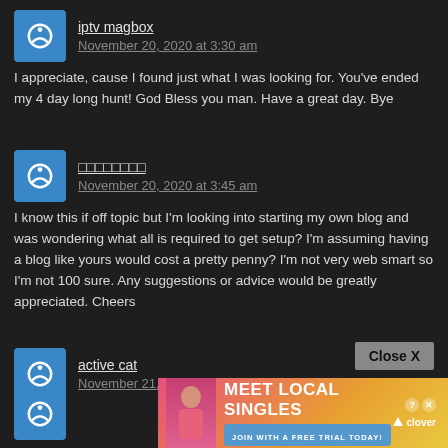iptv magbox
November 20, 2020 at 3:30 am
I appreciate, cause I found just what I was looking for. You've ended my 4 day long hunt! God Bless you man. Have a great day. Bye
□□□□□□□□
November 20, 2020 at 3:45 am
I know this if off topic but I'm looking into starting my own blog and was wondering what all is required to get setup? I'm assuming having a blog like yours would cost a pretty penny? I'm not very web smart so I'm not 100 sure. Any suggestions or advice would be greatly appreciated. Cheers
active cat
November 21, 2020 at 6:19 am
|
Close X
[Figure (infographic): Advertisement banner: MEET LOCAL SINGLES with JOIN WITH A FREE TRIAL TODAY and Clover logo, pink/orange gradient background with a woman photo]